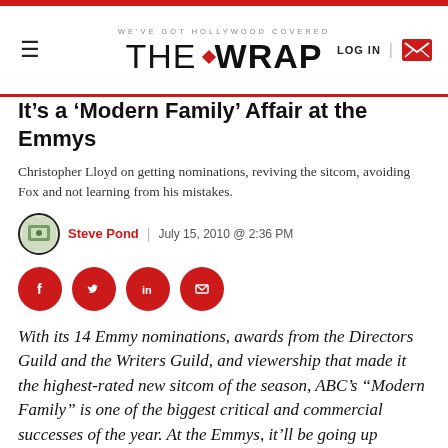WE'VE GOT HOLLYWOOD COVERED | THE WRAP | LOG IN
It’s a ‘Modern Family’ Affair at the Emmys
Christopher Lloyd on getting nominations, reviving the sitcom, avoiding Fox and not learning from his mistakes.
Steve Pond | July 15, 2010 @ 2:36 PM
[Figure (other): Social share buttons: Facebook, Twitter, LinkedIn, Email]
With its 14 Emmy nominations, awards from the Directors Guild and the Writers Guild, and viewership that made it the highest-rated new sitcom of the season, ABC’s “Modern Family” is one of the biggest critical and commercial successes of the year. At the Emmys, it’ll be going up against “Curb Your